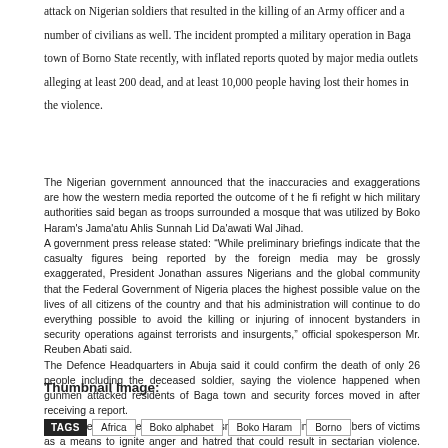attack on Nigerian soldiers that resulted in the killing of an Army officer and a number of civilians as well. The incident prompted a military operation in Baga town of Borno State recently, with inflated reports quoted by major media outlets alleging at least 200 dead, and at least 10,000 people having lost their homes in the violence.
The Nigerian government announced that the inaccuracies and exaggerations are how the western media reported the outcome of t he fi refight w hich military authorities said began as troops surrounded a mosque that was utilized by Boko Haram's Jama'atu Ahlis Sunnah Lid Da'awati Wal Jihad.
A government press release stated: “While preliminary briefings indicate that the casualty figures being reported by the foreign media may be grossly exaggerated, President Jonathan assures Nigerians and the global community that the Federal Government of Nigeria places the highest possible value on the lives of all citizens of the country and that his administration will continue to do everything possible to avoid the killing or injuring of innocent bystanders in security operations against terrorists and insurgents,” official spokesperson Mr. Reuben Abati said.
The Defence Headquarters in Abuja said it could confirm the death of only 26 people including the deceased soldier, saying the violence happened when gunmen attacked residents of Baga town and security forces moved in after receiving a report.
A consistent practice of ‘media terrorism’ is to grossly inflate numbers of victims as a means to ignite anger and hatred that could result in sectarian violence. Similarly, a statement presently being broadcast across the internet is that “1,000 Christians have been killed in their homes and churches in Nigeria”. Oddly, the exact figure (and identical wording) also appeared in reference to alleged ‘massacres’ in Iraq, Syria and Egypt.
Material for this report obtained from The Daily Trust/ Y. Ibrahim, I. Wakili, and M. Bashar
Thumbnail Image:
TAGS  Africa  Boko alphabet  Boko Haram  Borno